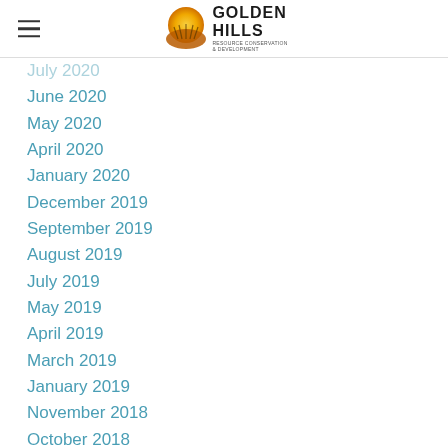Golden Hills Resource Conservation & Development
July 2020
June 2020
May 2020
April 2020
January 2020
December 2019
September 2019
August 2019
July 2019
May 2019
April 2019
March 2019
January 2019
November 2018
October 2018
September 2018
August 2018
July 2018